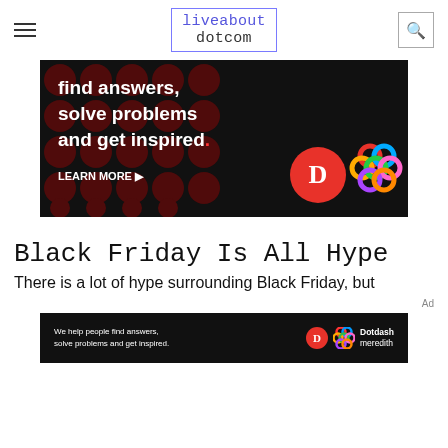liveabout dotcom
[Figure (infographic): Dark advertisement banner with dark red polka dot background. Text reads: 'find answers, solve problems and get inspired.' with a red period. Below: 'LEARN MORE >' button. Bottom right shows a red circle with stylized D logo and a colorful interlocked rings logo.]
Black Friday Is All Hype
There is a lot of hype surrounding Black Friday, but
Ad
[Figure (infographic): Small dark advertisement banner. Text: 'We help people find answers, solve problems and get inspired.' with D logo and Dotdash meredith text on right.]